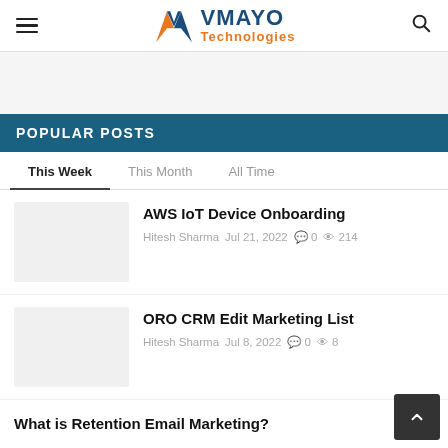VMAYO Technologies
POPULAR POSTS
This Week | This Month | All Time
AWS IoT Device Onboarding — Hitesh Sharma  Jul 21, 2022  0 comments  214 views
ORO CRM Edit Marketing List — Hitesh Sharma  Jul 8, 2022  0 comments  8 views
What is Retention Email Marketing?